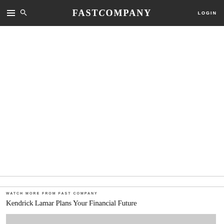FAST COMPANY  LOGIN
WATCH MORE FROM FAST COMPANY
Kendrick Lamar Plans Your Financial Future